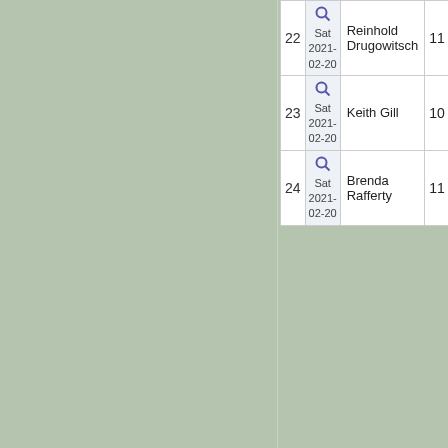| # | Date | Player | Score |
| --- | --- | --- | --- |
| 22 | Sat 2021-02-20 | Reinhold Drugowitsch | 11 |
| 23 | Sat 2021-02-20 | Keith Gill | 10 |
| 24 | Sat 2021-02-20 | Brenda Rafferty | 11 |
Search current seas
View results of:
Saturday 20th February 2021
Go